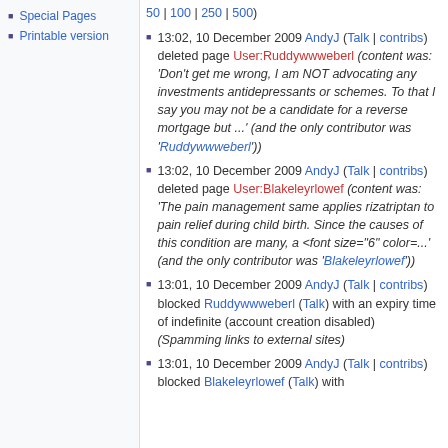Special Pages
Printable version
| 50 | 100 | 250 | 500)
13:02, 10 December 2009 AndyJ (Talk | contribs) deleted page User:Ruddywwweberl (content was: 'Don't get me wrong, I am NOT advocating any investments antidepressants or schemes. To that I say you may not be a candidate for a reverse mortgage but ...' (and the only contributor was 'Ruddywwweberl'))
13:02, 10 December 2009 AndyJ (Talk | contribs) deleted page User:Blakeleyrlowef (content was: 'The pain management same applies rizatriptan to pain relief during child birth. Since the causes of this condition are many, a <font size="6" color=...' (and the only contributor was 'Blakeleyrlowef'))
13:01, 10 December 2009 AndyJ (Talk | contribs) blocked Ruddywwweberl (Talk) with an expiry time of indefinite (account creation disabled) (Spamming links to external sites)
13:01, 10 December 2009 AndyJ (Talk | contribs) blocked Blakeleyrlowef (Talk) with